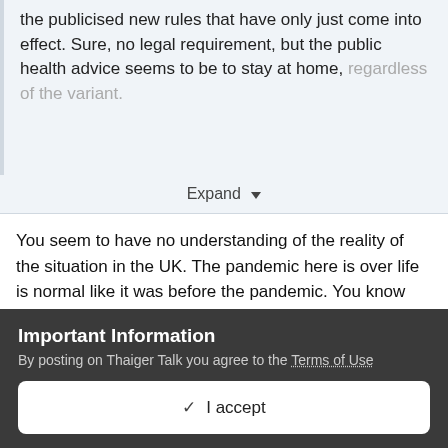the publicised new rules that have only just come into effect. Sure, no legal requirement, but the public health advice seems to be to stay at home, regardless of the variant.
Expand
You seem to have no understanding of the reality of the situation in the UK. The pandemic here is over life is normal like it was before the pandemic. You know the government of the UK and FCO will say anything to cover their *****. Health and safety rules on steroids.
Important Information
By posting on Thaiger Talk you agree to the Terms of Use
✓  I accept